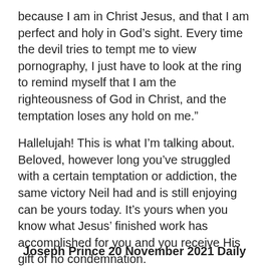because I am in Christ Jesus, and that I am perfect and holy in God’s sight. Every time the devil tries to tempt me to view pornography, I just have to look at the ring to remind myself that I am the righteousness of God in Christ, and the temptation loses any hold on me.”
Hallelujah! This is what I’m talking about. Beloved, however long you’ve struggled with a certain temptation or addiction, the same victory Neil had and is still enjoying can be yours today. It’s yours when you know what Jesus’ finished work has accomplished for you and you receive His gift of no condemnation.
Joseph Prince 20 November 2021 Daily